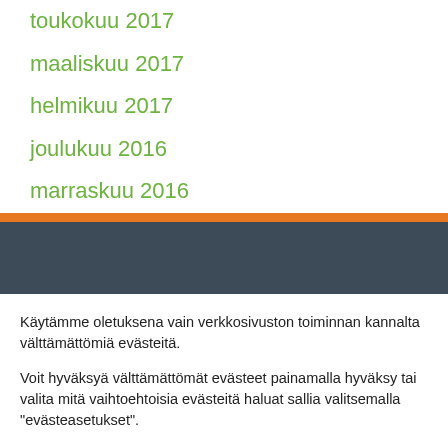toukokuu 2017
maaliskuu 2017
helmikuu 2017
joulukuu 2016
marraskuu 2016
Käytämme oletuksena vain verkkosivuston toiminnan kannalta välttämättömiä evästeitä.
Voit hyväksyä välttämättömät evästeet painamalla hyväksy tai valita mitä vaihtoehtoisia evästeitä haluat sallia valitsemalla "evästeasetukset".
Evästeasetukset | HYVÄKSY